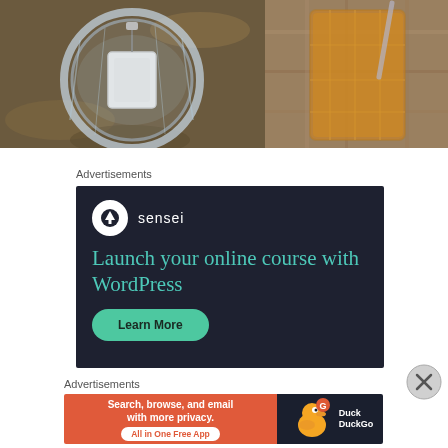[Figure (photo): Two-panel photo strip: left panel shows top-down view of a tea bag in a glass crystal cup on a stone surface; right panel shows a glass of amber-colored liquid (tea or whiskey) on a similar stone surface.]
Advertisements
[Figure (screenshot): Sensei advertisement on dark navy background. Logo: white circle with tree icon and 'sensei' text. Headline in teal: 'Launch your online course with WordPress'. Green rounded button: 'Learn More'.]
Advertisements
[Figure (screenshot): DuckDuckGo advertisement. Orange left section: 'Search, browse, and email with more privacy. All in One Free App'. Dark right section with DuckDuckGo duck logo.]